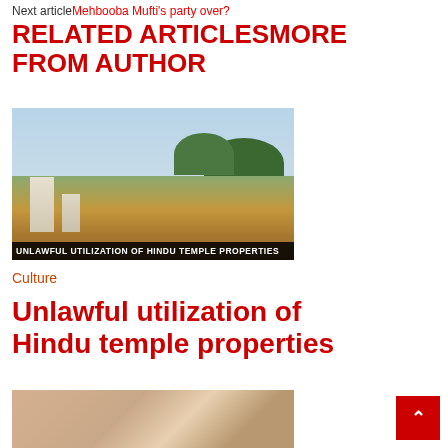Next articleMehbooba Mufti's party over?
RELATED ARTICLESMORE FROM AUTHOR
[Figure (photo): Aerial view of a Hindu temple complex with gopuram tower, surrounded by trees and open land. Caption overlay reads: UNLAWFUL UTILIZATION OF HINDU TEMPLE PROPERTIES]
Culture
Unlawful utilization of Hindu temple properties
[Figure (photo): Two men seated together, partially visible, appearing to be in conversation indoors]